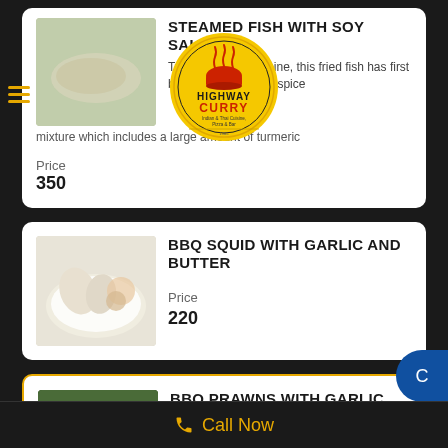[Figure (logo): Highway Curry restaurant logo - circular yellow badge with red curry bowl icon and text 'HIGHWAY CURRY - Indian & Thai Cuisine, Pizza & Bar']
STEAMED FISH WITH SOY SAUCE
Typical for Thai cuisine, this fried fish has first been marinated in a spice mixture which includes a large amount of turmeric
Price
350
[Figure (photo): Photo of BBQ squid dish on a white plate]
BBQ SQUID WITH GARLIC AND BUTTER
Price
220
[Figure (photo): Photo of BBQ prawns with vegetables on a plate]
BBQ PRAWNS WITH GARLIC AND BUTTER
Call Now